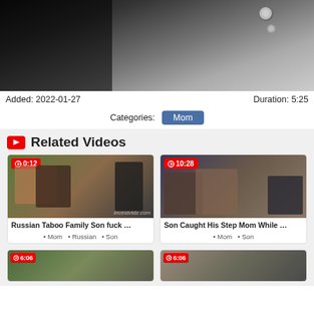[Figure (photo): Partial body image at top of page]
Added: 2022-01-27
Duration: 5:25
Categories: Mom
Related Videos
[Figure (screenshot): Video thumbnail - Russian Taboo Family Son fuck ... Duration 0:12]
Russian Taboo Family Son fuck ...
Mom • Russian • Son
[Figure (screenshot): Video thumbnail - Son Caught His Step Mom While ... Duration 10:28]
Son Caught His Step Mom While ...
Mom • Son
[Figure (screenshot): Video thumbnail bottom left, Duration 6:06]
[Figure (screenshot): Video thumbnail bottom right, Duration 6:06]